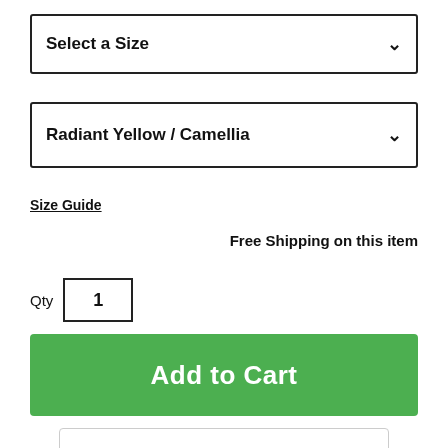Select a Size
Radiant Yellow / Camellia
Size Guide
Free Shipping on this item
Qty  1
Add to Cart
Delivery: FREE